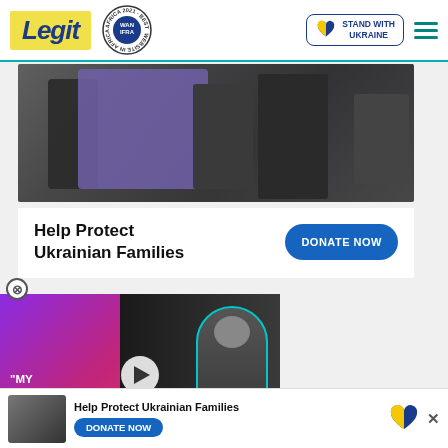Legit — STAND WITH UKRAINE
[Figure (photo): Photo of people in dark winter clothes carrying someone wrapped in a purple blanket, conflict scene]
Help Protect Ukrainian Families
DONATE NOW
[Figure (screenshot): Video thumbnail with quote 'MY BEAUTIFUL AND BRILLIANT LOVE' on purple/pink background, man with cap on right, play button overlay]
[Figure (photo): Thumbnail of people in winter scene]
Help Protect Ukrainian Families DONATE NOW